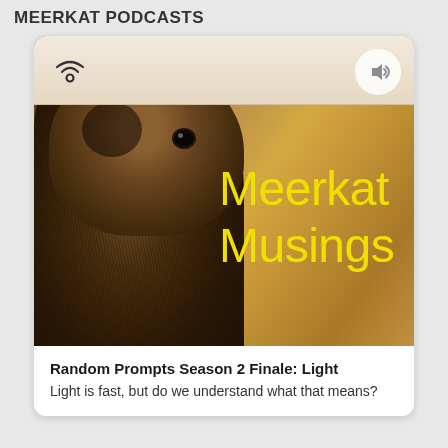MEERKAT PODCASTS
[Figure (illustration): Podcast card for 'Meerkat Musings'. Shows a close-up photo of a meerkat against a golden-brown background with yellow text 'Meerkat Musings' overlaid. A top bar with podcast icon and speaker button is shown.]
Random Prompts Season 2 Finale: Light
Light is fast, but do we understand what that means?